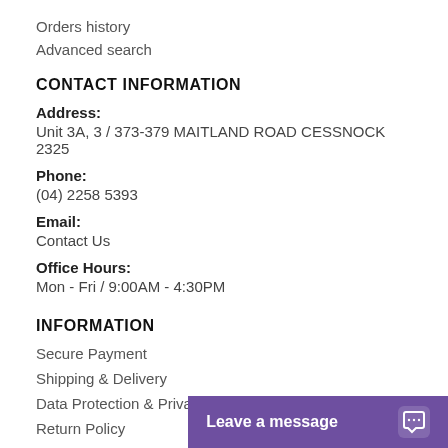Orders history
Advanced search
CONTACT INFORMATION
Address:
Unit 3A, 3 / 373-379 MAITLAND ROAD CESSNOCK 2325
Phone:
(04) 2258 5393
Email:
Contact Us
Office Hours:
Mon - Fri / 9:00AM - 4:30PM
INFORMATION
Secure Payment
Shipping & Delivery
Data Protection & Privacy
Return Policy
Leave a message